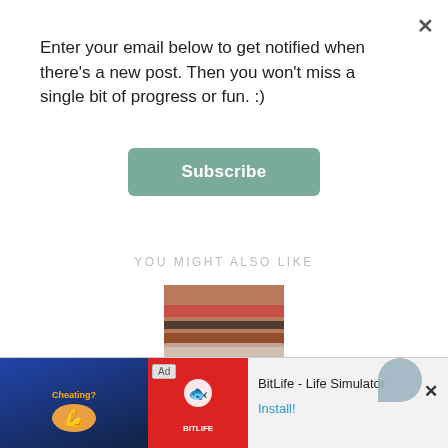Enter your email below to get notified when there's a new post. Then you won't miss a single bit of progress or fun. :)
[Figure (screenshot): Subscribe button - teal/sage green rounded rectangle button with white bold text 'Subscribe']
YOU MIGHT ALSO LIKE
[Figure (photo): Thumbnail photo of colorful bracelets/bangles at Goodwill]
Spotted: Goodwill
[Figure (photo): Photo of a rack with many dark hanging clothes at a thrift store]
[Figure (screenshot): Ad banner: BitLife - Life Simulator advertisement with install button]